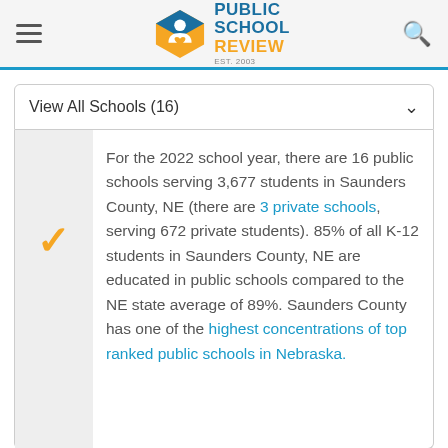Public School Review
View All Schools (16)
For the 2022 school year, there are 16 public schools serving 3,677 students in Saunders County, NE (there are 3 private schools, serving 672 private students). 85% of all K-12 students in Saunders County, NE are educated in public schools compared to the NE state average of 89%. Saunders County has one of the highest concentrations of top ranked public schools in Nebraska.